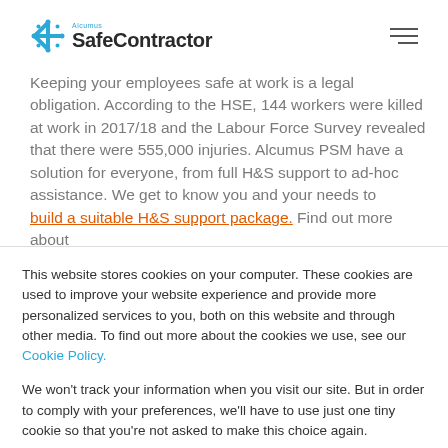[Figure (logo): Alcumus SafeContractor logo with snowflake/star icon in teal and bold text]
Keeping your employees safe at work is a legal obligation. According to the HSE, 144 workers were killed at work in 2017/18 and the Labour Force Survey revealed that there were 555,000 injuries. Alcumus PSM have a solution for everyone, from full H&S support to ad-hoc assistance. We get to know you and your needs to build a suitable H&S support package. Find out more about
This website stores cookies on your computer. These cookies are used to improve your website experience and provide more personalized services to you, both on this website and through other media. To find out more about the cookies we use, see our Cookie Policy.

We won't track your information when you visit our site. But in order to comply with your preferences, we'll have to use just one tiny cookie so that you're not asked to make this choice again.
Accept | Decline